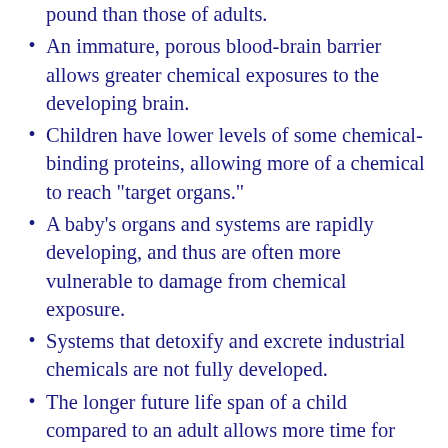pound than those of adults.
An immature, porous blood-brain barrier allows greater chemical exposures to the developing brain.
Children have lower levels of some chemical-binding proteins, allowing more of a chemical to reach "target organs."
A baby's organs and systems are rapidly developing, and thus are often more vulnerable to damage from chemical exposure.
Systems that detoxify and excrete industrial chemicals are not fully developed.
The longer future life span of a child compared to an adult allows more time for adverse effects to arise.
The pace and complexity of growth and development in the womb are unmatched later in life. Three weeks after conception, an embryo, still only 1/100th the size of a water droplet, has nevertheless grown at such an explosive rate that…